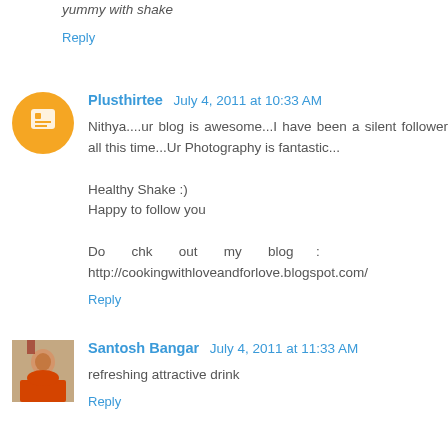yummy with shake
Reply
Plusthirtee July 4, 2011 at 10:33 AM
Nithya....ur blog is awesome...I have been a silent follower all this time...Ur Photography is fantastic...

Healthy Shake :)
Happy to follow you

Do chk out my blog : http://cookingwithloveandforlove.blogspot.com/
Reply
Santosh Bangar July 4, 2011 at 11:33 AM
refreshing attractive drink
Reply